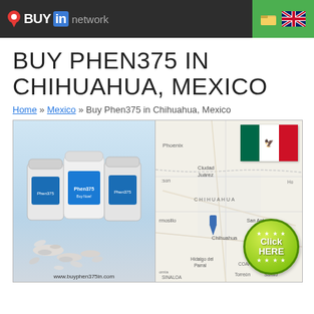BuyIn network
BUY PHEN375 IN CHIHUAHUA, MEXICO
Home » Mexico » Buy Phen375 in Chihuahua, Mexico
[Figure (screenshot): Left side: Phen375 pill bottles and tablets with text 'www.buyphen375in.com'. Right side: Map of Mexico/USA border region showing Chihuahua with a location pin, overlaid with Mexican flag and a green 'Click HERE' button with stars.]